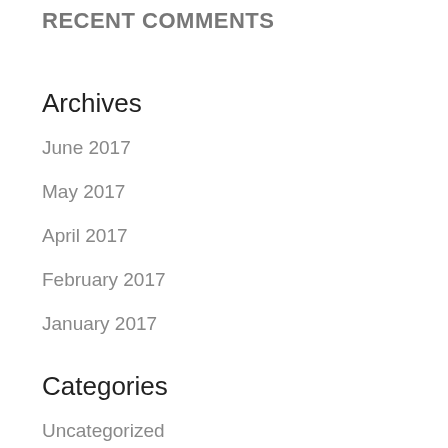RECENT COMMENTS
Archives
June 2017
May 2017
April 2017
February 2017
January 2017
Categories
Uncategorized
Meta
Log in
Entries feed
Comments feed